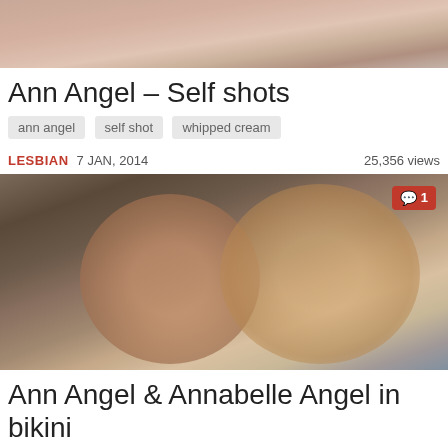[Figure (photo): Partial photo cropped at top of page, skin tones visible]
Ann Angel – Self shots
ann angel   self shot   whipped cream
LESBIAN 7 JAN, 2014   25,356 views
[Figure (photo): Two young women posing closely together outdoors, one brunette and one blonde with sunglasses on head. Comment badge showing 1 comment.]
Ann Angel & Annabelle Angel in bikini
ann angel   annabelle angel   bikini